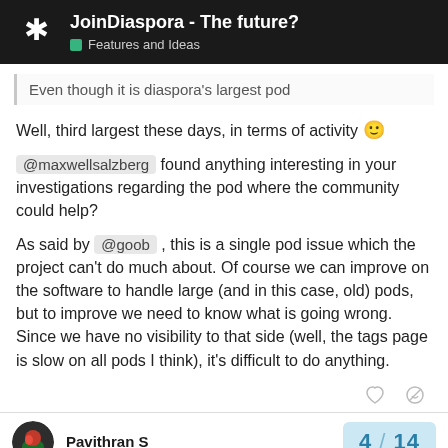JoinDiaspora - The future? Features and Ideas
Even though it is diaspora's largest pod
Well, third largest these days, in terms of activity 🙂
@maxwellsalzberg found anything interesting in your investigations regarding the pod where the community could help?
As said by @goob , this is a single pod issue which the project can't do much about. Of course we can improve on the software to handle large (and in this case, old) pods, but to improve we need to know what is going wrong. Since we have no visibility to that side (well, the tags page is slow on all pods I think), it's difficult to do anything.
Pavithran S
4 / 14